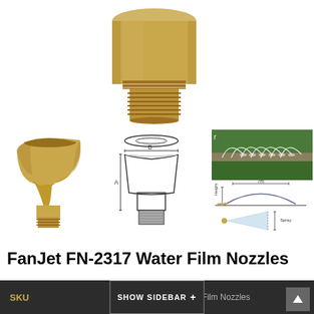[Figure (photo): Close-up photo of a brass threaded male nozzle fitting with wide top flange, centered at top of page]
[Figure (photo): Photo of brass fan/film nozzle (FN-2317) showing the wide flat outlet at top and threaded male fitting at bottom]
[Figure (engineering-diagram): Engineering cross-section and top-view diagram of FN-2317 nozzle with dimension labels A (height) and B (width)]
[Figure (photo): Photo of outdoor fountain showing a row of fan jet water film nozzles spraying water in arc patterns along a grass border]
[Figure (schematic): Schematic diagrams showing top-view arc spray pattern with height and width dimensions, and side-view fan spray cone with spray angle]
FanJet FN-2317 Water Film Nozzles
SKU   FanJet FN-2317 Water Film Nozzles